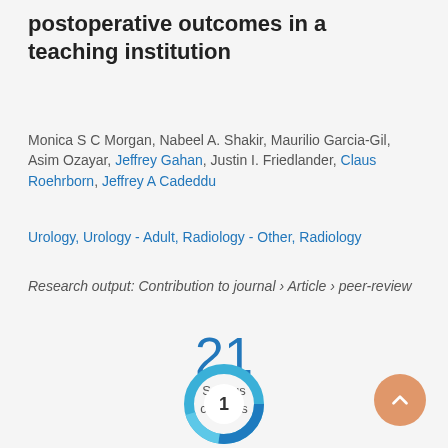postoperative outcomes in a teaching institution
Monica S C Morgan, Nabeel A. Shakir, Maurilio Garcia-Gil, Asim Ozayar, Jeffrey Gahan, Justin I. Friedlander, Claus Roehrborn, Jeffrey A Cadeddu
Urology, Urology - Adult, Radiology - Other, Radiology
Research output: Contribution to journal › Article › peer-review
21 Scopus citations
[Figure (other): Altmetric donut badge showing score 1]